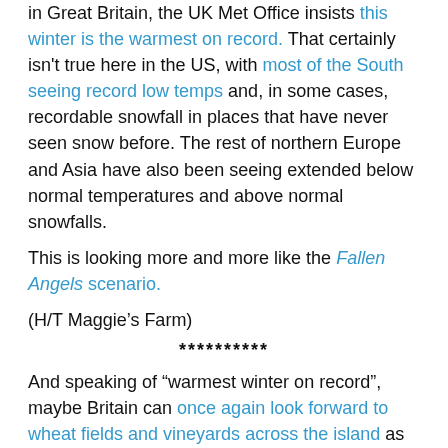in Great Britain, the UK Met Office insists this winter is the warmest on record. That certainly isn't true here in the US, with most of the South seeing record low temps and, in some cases, recordable snowfall in places that have never seen snow before. The rest of northern Europe and Asia have also been seeing extended below normal temperatures and above normal snowfalls.
This is looking more and more like the Fallen Angels scenario.
(H/T Maggie’s Farm)
**********
And speaking of “warmest winter on record”, maybe Britain can once again look forward to wheat fields and vineyards across the island as once existed when the weather was warmer.
(H/T Maggie’s Farm)
**********
Can the GOP win Kennedy’s US Senate seat in the special election, January 19th? It’s looking like the tide is shifting and